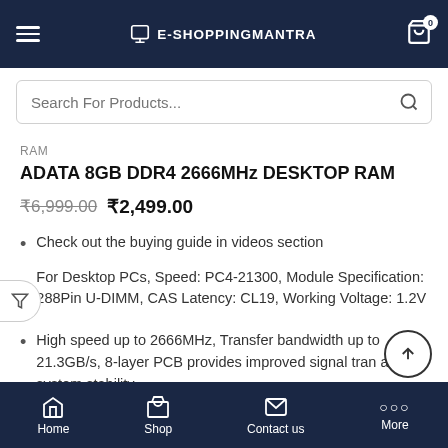E-SHOPPINGMANTRA
Search For Products...
RAM
ADATA 8GB DDR4 2666MHz DESKTOP RAM
₹6,999.00 ₹2,499.00
Check out the buying guide in videos section
For Desktop PCs, Speed: PC4-21300, Module Specification: 288Pin U-DIMM, CAS Latency: CL19, Working Voltage: 1.2V
High speed up to 2666MHz, Transfer bandwidth up to 21.3GB/s, 8-layer PCB provides improved signal transmission and system stability
Home  Shop  Contact us  More